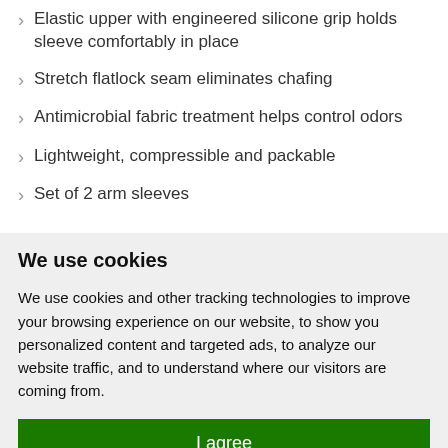Elastic upper with engineered silicone grip holds sleeve comfortably in place
Stretch flatlock seam eliminates chafing
Antimicrobial fabric treatment helps control odors
Lightweight, compressible and packable
Set of 2 arm sleeves
We use cookies
We use cookies and other tracking technologies to improve your browsing experience on our website, to show you personalized content and targeted ads, to analyze our website traffic, and to understand where our visitors are coming from.
I agree